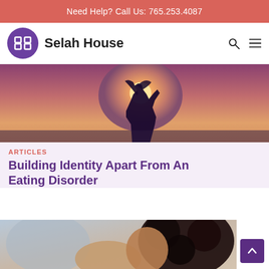Need Help? Call Us: 765.253.4087
[Figure (logo): Selah House logo with purple circular emblem and text 'Selah House']
[Figure (photo): Silhouette of a woman with arms raised against a bright sunset sky]
ARTICLES
Building Identity Apart From An Eating Disorder
[Figure (photo): Close-up of a young Black woman with curly hair, outdoors]